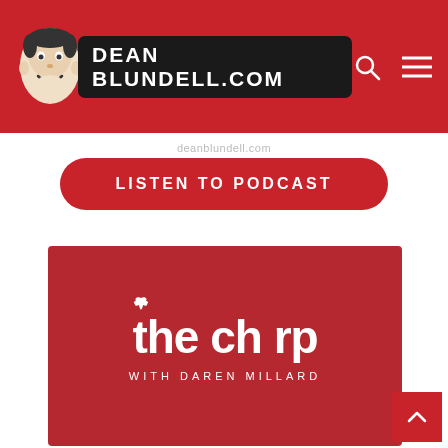DEAN BLUNDELL.COM
deanblundell.com
LISTEN TO PODCAST
[Figure (logo): The Chirp with Daren Millard podcast logo — red square background with white bold text reading 'the chirp' and subtitle 'WITH DAREN MILLARD']